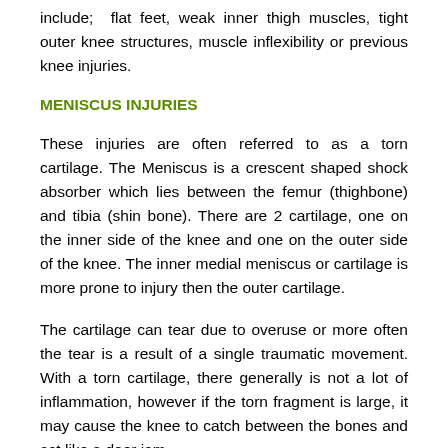include; flat feet, weak inner thigh muscles, tight outer knee structures, muscle inflexibility or previous knee injuries.
MENISCUS INJURIES
These injuries are often referred to as a torn cartilage. The Meniscus is a crescent shaped shock absorber which lies between the femur (thighbone) and tibia (shin bone). There are 2 cartilage, one on the inner side of the knee and one on the outer side of the knee. The inner medial meniscus or cartilage is more prone to injury then the outer cartilage.
The cartilage can tear due to overuse or more often the tear is a result of a single traumatic movement. With a torn cartilage, there generally is not a lot of inflammation, however if the torn fragment is large, it may cause the knee to catch between the bones and act like a door jam